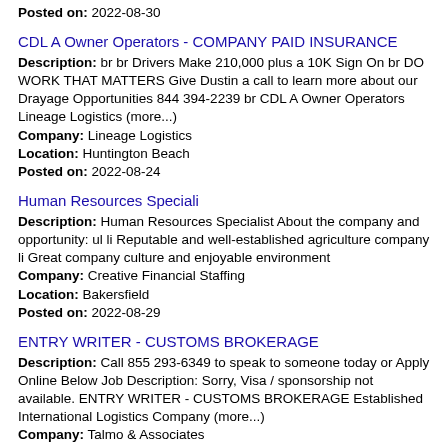Posted on: 2022-08-30
CDL A Owner Operators - COMPANY PAID INSURANCE
Description: br br Drivers Make 210,000 plus a 10K Sign On br DO WORK THAT MATTERS Give Dustin a call to learn more about our Drayage Opportunities 844 394-2239 br CDL A Owner Operators Lineage Logistics (more...)
Company: Lineage Logistics
Location: Huntington Beach
Posted on: 2022-08-24
Human Resources Speciali
Description: Human Resources Specialist About the company and opportunity: ul li Reputable and well-established agriculture company li Great company culture and enjoyable environment
Company: Creative Financial Staffing
Location: Bakersfield
Posted on: 2022-08-29
ENTRY WRITER - CUSTOMS BROKERAGE
Description: Call 855 293-6349 to speak to someone today or Apply Online Below Job Description: Sorry, Visa / sponsorship not available. ENTRY WRITER - CUSTOMS BROKERAGE Established International Logistics Company (more...)
Company: Talmo & Associates
Location: Inglewood
Posted on: 2022-08-26